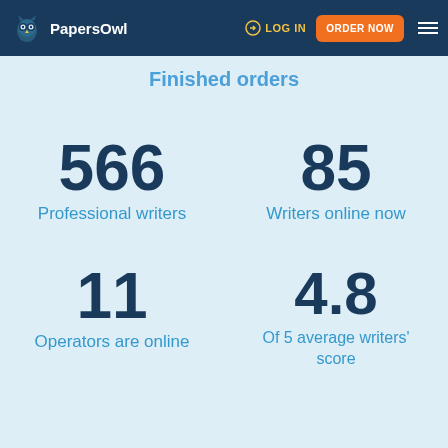PapersOwl | LOG IN | ORDER NOW
Finished orders
566
Professional writers
85
Writers online now
11
Operators are online
4.8
Of 5 average writers' score